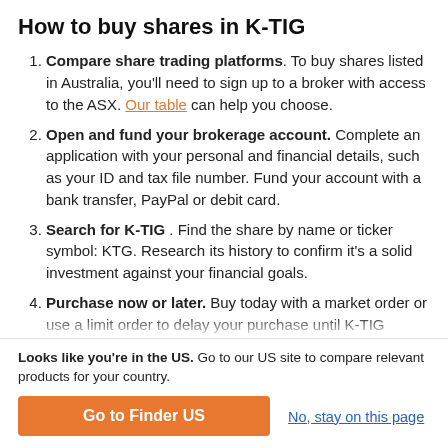How to buy shares in K-TIG
Compare share trading platforms. To buy shares listed in Australia, you'll need to sign up to a broker with access to the ASX. Our table can help you choose.
Open and fund your brokerage account. Complete an application with your personal and financial details, such as your ID and tax file number. Fund your account with a bank transfer, PayPal or debit card.
Search for K-TIG . Find the share by name or ticker symbol: KTG. Research its history to confirm it's a solid investment against your financial goals.
Purchase now or later. Buy today with a market order or use a limit order to delay your purchase until K-TIG reaches your desired price. Look into dollar-cost
Looks like you're in the US. Go to our US site to compare relevant products for your country.
Go to Finder US
No, stay on this page